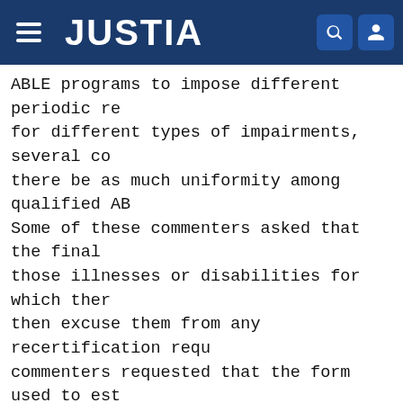JUSTIA
ABLE programs to impose different periodic re- for different types of impairments, several co- there be as much uniformity among qualified AB- Some of these commenters asked that the final those illnesses or disabilities for which ther- then excuse them from any recertification requ- commenters requested that the form used to est- contain a box for the diagnosing physician to is unlikely to change within five years, and r- only every five years thereafter. Other commen- be a uniform certification form with which a p- that an individual's impairment is unlikely to the certification would be effective for a cer- example, 5 years or longer), after which time could be filed for an additional number of yea- suggested that the certification of a ``perma- ``severe and sustained'' disability should be